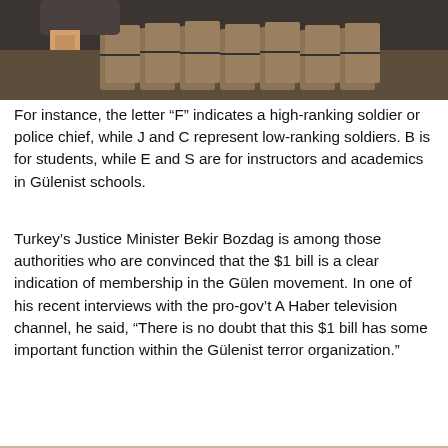[Figure (photo): Photo of stacks of banknotes on a table, person visible in background]
For instance, the letter “F” indicates a high-ranking soldier or police chief, while J and C represent low-ranking soldiers. B is for students, while E and S are for instructors and academics in Gülenist schools.
Turkey’s Justice Minister Bekir Bozdag is among those authorities who are convinced that the $1 bill is a clear indication of membership in the Gülen movement. In one of his recent interviews with the pro-gov’t A Haber television channel, he said, “There is no doubt that this $1 bill has some important function within the Gülenist terror organization.”
[Figure (photo): Photo of a table displaying documents with diagrams, two US $1 dollar bills, a book titled GULEN, and other items]